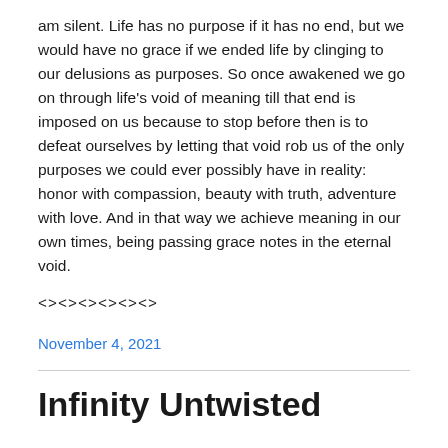am silent. Life has no purpose if it has no end, but we would have no grace if we ended life by clinging to our delusions as purposes. So once awakened we go on through life's void of meaning till that end is imposed on us because to stop before then is to defeat ourselves by letting that void rob us of the only purposes we could ever possibly have in reality: honor with compassion, beauty with truth, adventure with love. And in that way we achieve meaning in our own times, being passing grace notes in the eternal void.
<><><><><><>
November 4, 2021
Infinity Untwisted